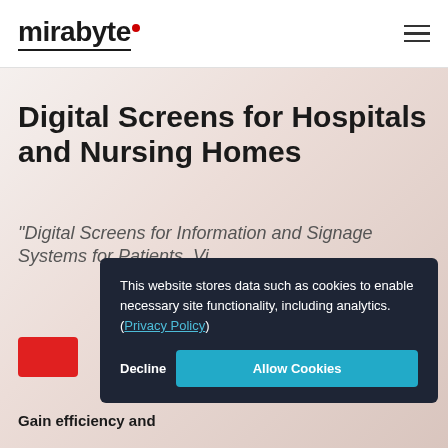mirabyte
Digital Screens for Hospitals and Nursing Homes
“Digital Screens for Information and Signage Systems for Patients, Vi…
This website stores data such as cookies to enable necessary site functionality, including analytics. (Privacy Policy)
Decline
Allow Cookies
Gain efficiency and